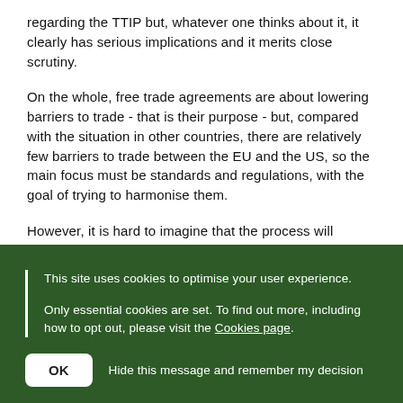regarding the TTIP but, whatever one thinks about it, it clearly has serious implications and it merits close scrutiny.
On the whole, free trade agreements are about lowering barriers to trade - that is their purpose - but, compared with the situation in other countries, there are relatively few barriers to trade between the EU and the US, so the main focus must be standards and regulations, with the goal of trying to harmonise them.
However, it is hard to imagine that the process will involve any key standards going up. On the contrary, I suspect
This site uses cookies to optimise your user experience.
Only essential cookies are set. To find out more, including how to opt out, please visit the Cookies page.
OK
Hide this message and remember my decision